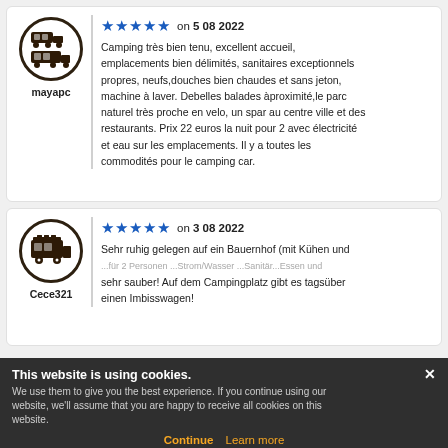[Figure (illustration): Circular avatar icon with camping vehicles (truck and camper) for user mayapc]
mayapc
★★★★★ on 5 08 2022
Camping très bien tenu, excellent accueil, emplacements bien délimités, sanitaires exceptionnels propres, neufs,douches bien chaudes et sans jeton, machine à laver. Debelles balades àproximité,le parc naturel très proche en velo, un spar au centre ville et des restaurants. Prix 22 euros la nuit pour 2 avec électricité et eau sur les emplacements. Il y a toutes les commodités pour le camping car.
[Figure (illustration): Circular avatar icon with a camper van for user Cece321]
Cece321
★★★★★ on 3 08 2022
Sehr ruhig gelegen auf ein Bauernhof (mit Kühen und ...für 2 Personen ...Strom/Wasser ...Sanitär...sauber! Auf dem Campingplatz gibt es tagsüber einen Imbisswagen!
This website is using cookies. We use them to give you the best experience. If you continue using our website, we'll assume that you are happy to receive all cookies on this website. Continue    Learn more